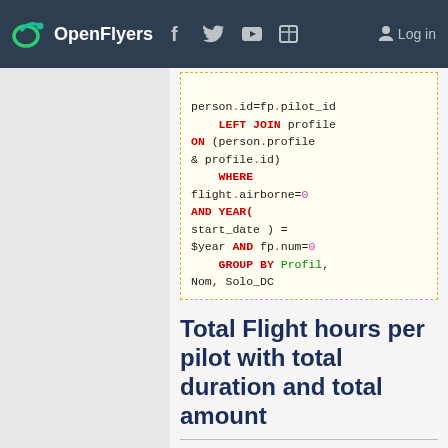OpenFlyers  Log in
[Figure (screenshot): Code block showing SQL snippet with LEFT JOIN, WHERE, AND YEAR, GROUP BY clauses in syntax-highlighted monospace font]
Total Flight hours per pilot with total duration and total amount
Following extrafields are needed